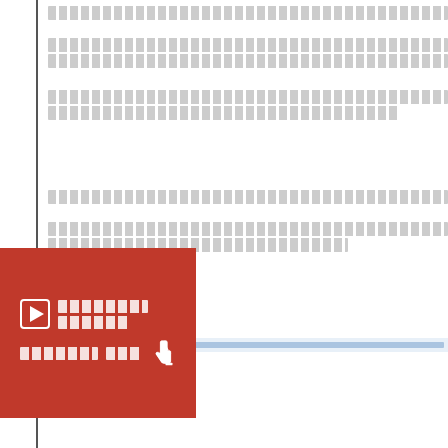[redacted text block line 1]
[redacted text block line 2]
[redacted text block line 3]
[redacted text block line 4]
[redacted text block line 5]
[redacted text block line 6]
[Figure (other): Red call-to-action box with white play icon, two lines of white text, and a white pointing hand cursor icon]
88